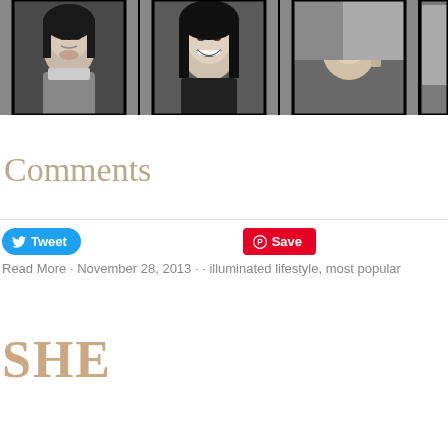[Figure (photo): A strip of four black and white photos showing people's faces. First photo: a young woman with dark hair looking slightly to the side. Second photo: an Asian woman smiling broadly with long black hair. Third photo: an Asian person smiling with a finger raised. Fourth photo: partially visible person.]
Comments
Tweet  Save
Read More · November 28, 2013 · · illuminated lifestyle, most popular
SHE